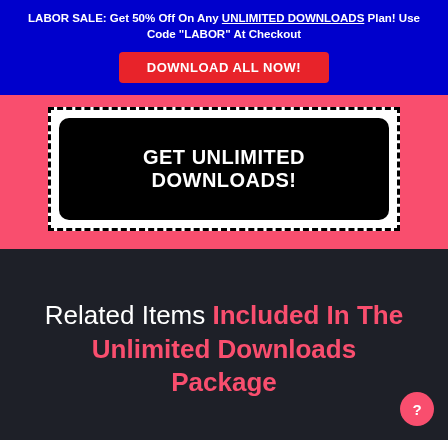LABOR SALE: Get 50% Off On Any UNLIMITED DOWNLOADS Plan! Use Code "LABOR" At Checkout
DOWNLOAD ALL NOW!
GET UNLIMITED DOWNLOADS!
Related Items Included In The Unlimited Downloads Package